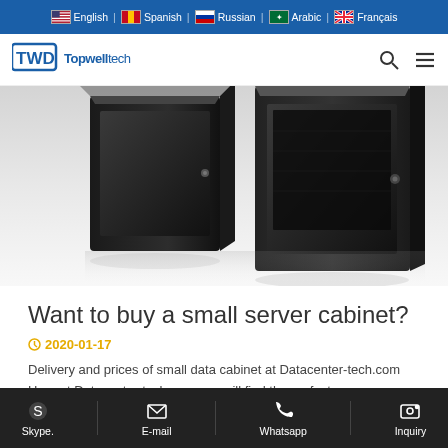English | Spanish | Russian | Arabic | Français
[Figure (logo): Topwelltech TWD logo with navigation icons (search, menu)]
[Figure (photo): Two black server cabinet enclosures photographed on a white reflective surface, viewed from the front-left angle]
Want to buy a small server cabinet?
2020-01-17
Delivery and prices of small data cabinet at Datacenter-tech.com Here at Datacenter-tech.com you will find the perfect
Skype. | E-mail | Whatsapp | Inquiry